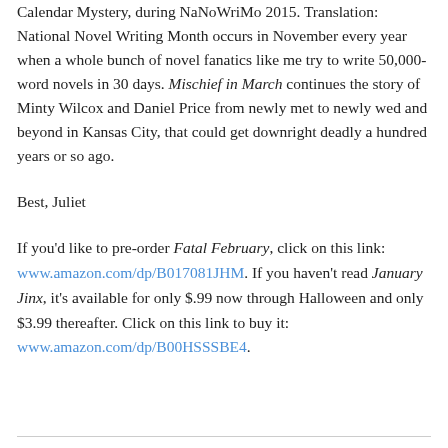Calendar Mystery, during NaNoWriMo 2015. Translation: National Novel Writing Month occurs in November every year when a whole bunch of novel fanatics like me try to write 50,000-word novels in 30 days. Mischief in March continues the story of Minty Wilcox and Daniel Price from newly met to newly wed and beyond in Kansas City, that could get downright deadly a hundred years or so ago.
Best, Juliet
If you'd like to pre-order Fatal February, click on this link: www.amazon.com/dp/B017081JHM. If you haven't read January Jinx, it's available for only $.99 now through Halloween and only $3.99 thereafter. Click on this link to buy it: www.amazon.com/dp/B00HSSSBE4.